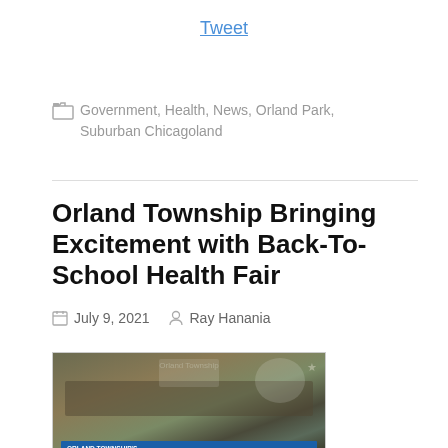Tweet
Government, Health, News, Orland Park, Suburban Chicagoland
Orland Township Bringing Excitement with Back-To-School Health Fair
July 9, 2021  Ray Hanania
[Figure (photo): Indoor venue with Orland Township Back to School Health Fair banner on a counter. Banner reads: Orland Township's Back to School Health Fair, Saturday August 14, 2021 • 9 a.m. – 1 p.m., Town & Country Inn, Orland Park, IL. Free Admission.]